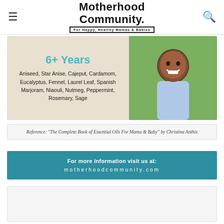Motherhood Community. For Happy, Healthy Mamas & Babies
[Figure (infographic): Age group card for 6+ Years listing safe essential oils on a beige background with a photo of a smiling boy]
6+ Years
Aniseed, Star Anise, Cajeput, Cardamom, Eucalyptus, Fennel, Laurel Leaf, Spanish Marjoram, Niaouli, Nutmeg, Peppermint, Rosemary, Sage
Reference: "The Complete Book of Essential Oils For Mama & Baby" by Christina Anthis
For more information visit us at: motherhoodcommunity.com
[Figure (other): Advertisement placeholder area at bottom of page]